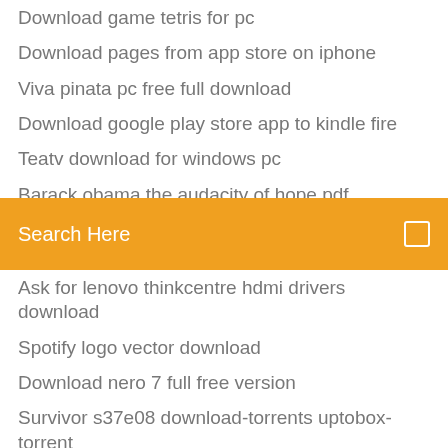Download game tetris for pc
Download pages from app store on iphone
Viva pinata pc free full download
Download google play store app to kindle fire
Teatv download for windows pc
Barack obama the audacity of hope pdf download
Download camera pc windows 8 buat video call
Search Here
Ask for lenovo thinkcentre hdmi drivers download
Spotify logo vector download
Download nero 7 full free version
Survivor s37e08 download-torrents uptobox-torrent
Action replay code manager pc software download
Download fixer upper season 2 torrent complete
Concealed carry handguns fall 2018 pdf download
3d bape logo model download
Breath of the wild pc download cemu
Is minecraft forge safe to download